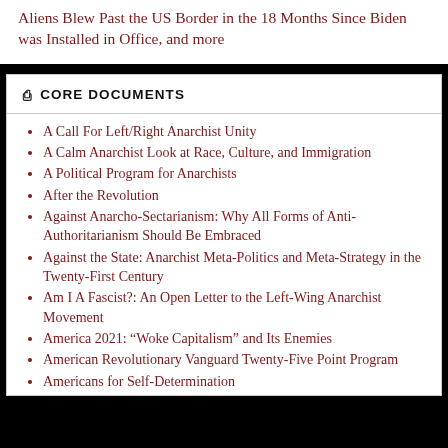Aliens Blew Past the US Border in the 18 Months Since Biden was Installed in Office, and more
CORE DOCUMENTS
A Call For Left/Right Anarchist Unity
A Calm Anarchist Look at Race, Culture, and Immigration
A Political Program for Anarchists
After the Revolution
Against Anarcho-Sectarianism: Why All Forms of Anti-Authoritarianism Should Be Embraced
Against the State: Anarchist Meta-Politics and Meta-Strategy in the Twenty-First Century
Am I A Fascist?: An Open Letter to the Left-Wing Anarchist Movement
America 2021: “Woke Capitalism” and Its Enemies
American Revolutionary Vanguard Twenty-Five Point Program
Americans for Self-Determination
An Alternative to the American Empire of the New